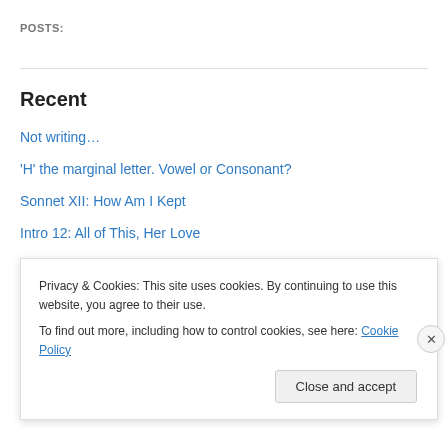POSTS:
Recent
Not writing…
'H' the marginal letter. Vowel or Consonant?
Sonnet XII: How Am I Kept
Intro 12: All of This, Her Love
Sonnet XI: Her Peace
Intro 11: My Peace
sonnet X: As Thou Hast Seen
Intro 10: Will I See?
Privacy & Cookies: This site uses cookies. By continuing to use this website, you agree to their use.
To find out more, including how to control cookies, see here: Cookie Policy